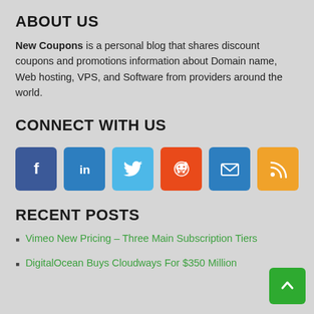ABOUT US
New Coupons is a personal blog that shares discount coupons and promotions information about Domain name, Web hosting, VPS, and Software from providers around the world.
CONNECT WITH US
[Figure (infographic): Six social media icon buttons: Facebook (blue), LinkedIn (blue), Twitter (light blue), Reddit (orange-red), Email (blue), RSS (orange)]
RECENT POSTS
Vimeo New Pricing – Three Main Subscription Tiers
DigitalOcean Buys Cloudways For $350 Million